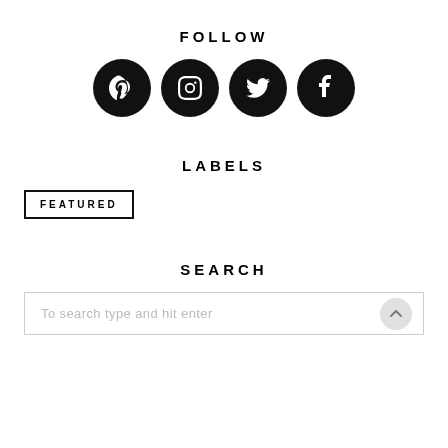FOLLOW
[Figure (other): Four social media icons (Pinterest, Instagram, Twitter, Facebook) as white icons on black circles]
LABELS
FEATURED
SEARCH
To search type and hit enter